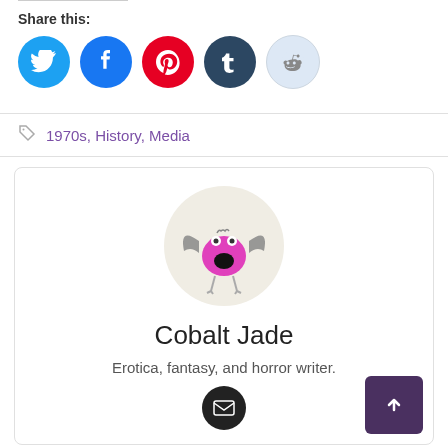Share this:
[Figure (other): Social share icons: Twitter (blue), Facebook (blue), Pinterest (red), Tumblr (dark), Reddit (light blue)]
1970s, History, Media
[Figure (illustration): Author avatar: cartoon pink bat-like creature with wings and legs on beige circular background]
Cobalt Jade
Erotica, fantasy, and horror writer.